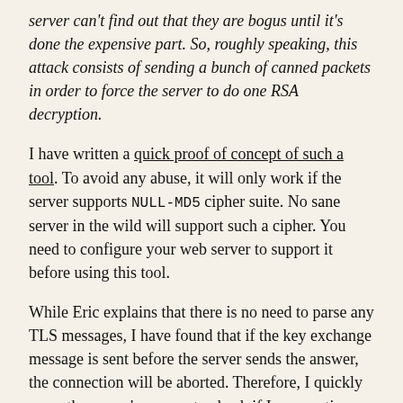server can't find out that they are bogus until it's done the expensive part. So, roughly speaking, this attack consists of sending a bunch of canned packets in order to force the server to do one RSA decryption.
I have written a quick proof of concept of such a tool. To avoid any abuse, it will only work if the server supports NULL-MD5 cipher suite. No sane server in the wild will support such a cipher. You need to configure your web server to support it before using this tool.
While Eric explains that there is no need to parse any TLS messages, I have found that if the key exchange message is sent before the server sends the answer, the connection will be aborted. Therefore, I quickly parse the server's answer to check if I can continue. Eric also says a bogus key exchange message can be sent since the server will have to decrypt it before